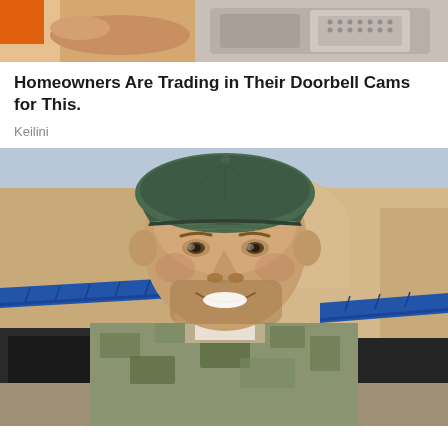[Figure (photo): Partial image at top showing a hand holding an object, with device components visible on the right side — cropped advertisement image for Keilini doorbell cam product]
Homeowners Are Trading in Their Doorbell Cams for This.
Keilini
[Figure (photo): Portrait photo of a smiling man in military/camouflage uniform and olive green cap, standing in front of a commercial building with blue awnings and a circular blue window accent]